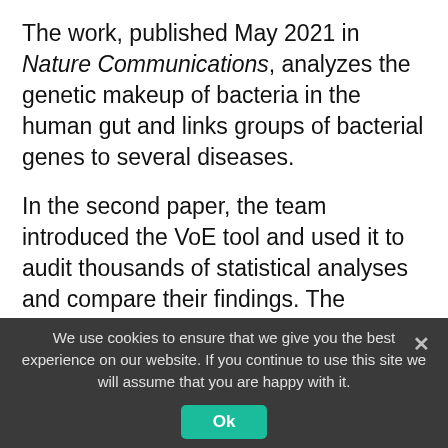The work, published May 2021 in Nature Communications, analyzes the genetic makeup of bacteria in the human gut and links groups of bacterial genes to several diseases.
In the second paper, the team introduced the VoE tool and used it to audit thousands of statistical analyses and compare their findings. The researchers assessed the results of studies analyzing the link between calcium intake and bone density, vitamin D levels and COVID-19
We use cookies to ensure that we give you the best experience on our website. If you continue to use this site we will assume that you are happy with it.